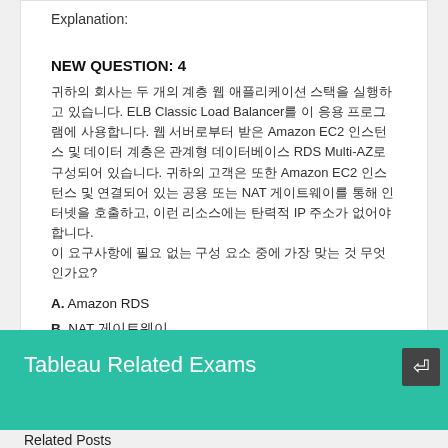Explanation:
NEW QUESTION: 4
귀하의 회사는 두 개의 계층 웹 애플리케이션 스택을 실행하고 있습니다. ELB Classic Load Balancer를 이 응용 프로그램에 사용합니다. 웹 서버로부터 받은 Amazon EC2 인스턴스 및 데이터 계층은 관계형 데이터베이스 RDS Multi-AZ로 구성되어 있습니다. 귀하의 고객은 또한 Amazon EC2 인스턴스 및 연결되어 있는 공용 또는 NAT 게이트웨이를 통해 인터넷을 호출하고, 이런 리소스에는 탄력적 IP 주소가 없어야 합니다. 이 요구사항에 필요 없는 구성 요소 중에 가장 맞는 것 무엇인가요?
A. Amazon RDS
B. NAT 게이트웨이
C. ELB 클래식 로드 밸런서
D. 인터넷 EC2
Answer: B
Tableau Related Exams
Related Posts